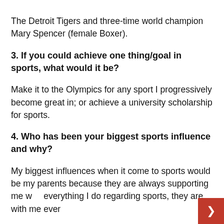The Detroit Tigers and three-time world champion Mary Spencer (female Boxer).
3. If you could achieve one thing/goal in sports, what would it be?
Make it to the Olympics for any sport I progressively become great in; or achieve a university scholarship for sports.
4. Who has been your biggest sports influence and why?
My biggest influences when it come to sports would be my parents because they are always supporting me with everything I do regarding sports, they are with me every